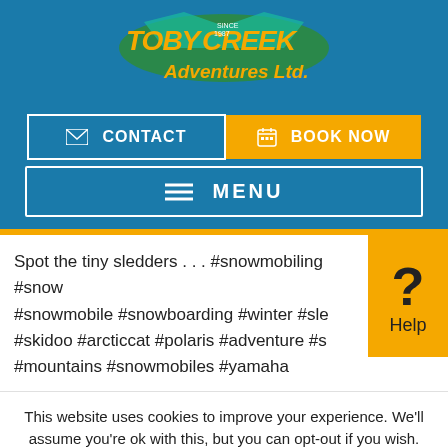[Figure (logo): Toby Creek Adventures Ltd. logo with stylized text and tropical/mountain imagery]
✉ CONTACT  📅 BOOK NOW
≡ MENU
Spot the tiny sledders . . . #snowmobiling #snow #snowmobile #snowboarding #winter #sle #skidoo #arcticcat #polaris #adventure #s #mountains #snowmobiles #yamaha
?  Help
This website uses cookies to improve your experience. We'll assume you're ok with this, but you can opt-out if you wish.
Cookie settings   ACCEPT